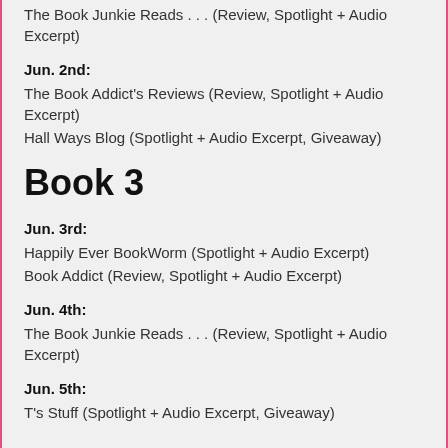The Book Junkie Reads . . . (Review, Spotlight + Audio Excerpt)
Jun. 2nd:
The Book Addict's Reviews (Review, Spotlight + Audio Excerpt)
Hall Ways Blog (Spotlight + Audio Excerpt, Giveaway)
Book 3
Jun. 3rd:
Happily Ever BookWorm (Spotlight + Audio Excerpt)
Book Addict (Review, Spotlight + Audio Excerpt)
Jun. 4th:
The Book Junkie Reads . . . (Review, Spotlight + Audio Excerpt)
Jun. 5th:
T's Stuff (Spotlight + Audio Excerpt, Giveaway)